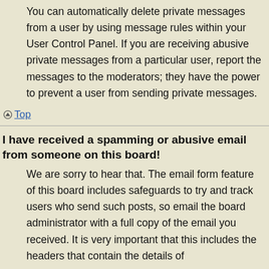You can automatically delete private messages from a user by using message rules within your User Control Panel. If you are receiving abusive private messages from a particular user, report the messages to the moderators; they have the power to prevent a user from sending private messages.
Top
I have received a spamming or abusive email from someone on this board!
We are sorry to hear that. The email form feature of this board includes safeguards to try and track users who send such posts, so email the board administrator with a full copy of the email you received. It is very important that this includes the headers that contain the details of